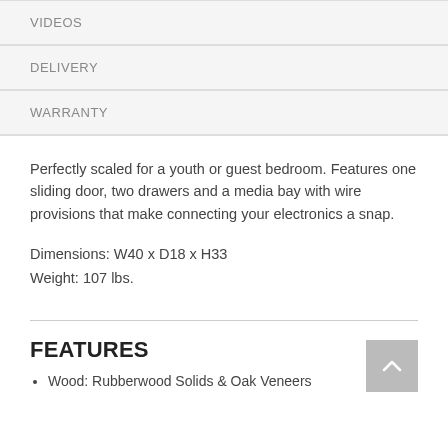VIDEOS
DELIVERY
WARRANTY
Perfectly scaled for a youth or guest bedroom. Features one sliding door, two drawers and a media bay with wire provisions that make connecting your electronics a snap.

Dimensions: W40 x D18 x H33
Weight: 107 lbs.
FEATURES
Wood: Rubberwood Solids & Oak Veneers